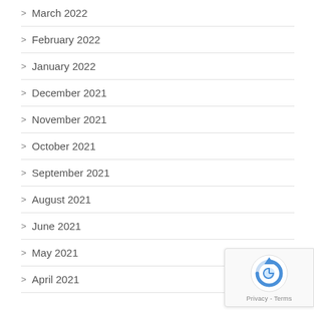> March 2022
> February 2022
> January 2022
> December 2021
> November 2021
> October 2021
> September 2021
> August 2021
> June 2021
> May 2021
> April 2021
[Figure (logo): reCAPTCHA badge with Google logo and Privacy - Terms text]